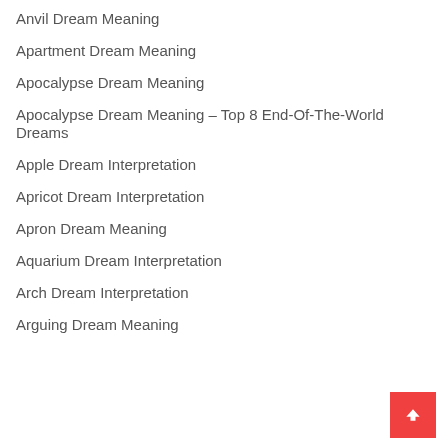Anvil Dream Meaning
Apartment Dream Meaning
Apocalypse Dream Meaning
Apocalypse Dream Meaning – Top 8 End-Of-The-World Dreams
Apple Dream Interpretation
Apricot Dream Interpretation
Apron Dream Meaning
Aquarium Dream Interpretation
Arch Dream Interpretation
Arguing Dream Meaning